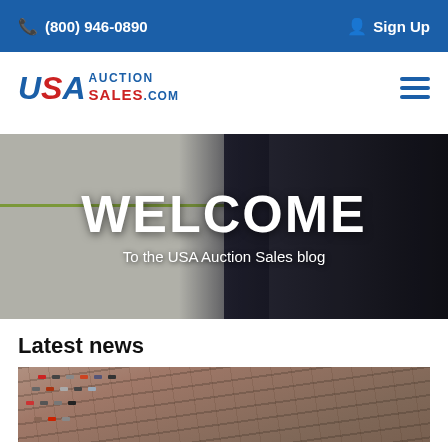(800) 946-0890  Sign Up
[Figure (logo): USA Auction Sales .com logo with stylized red and blue lettering]
[Figure (photo): Hero banner showing a concrete wall background with a dark-clad figure on the right, and bold white text reading WELCOME / To the USA Auction Sales blog]
Latest news
[Figure (photo): Aerial view of a large parking lot filled with many cars]